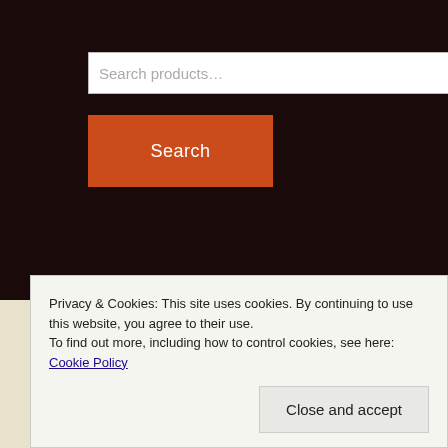Search products…
Search
Copyright
Copyright de Trafalgar Editions excepto lo que se especifique en cada caso de Crisanto Lorente.
Privacy & Cookies: This site uses cookies. By continuing to use this website, you agree to their use. To find out more, including how to control cookies, see here: Cookie Policy
Close and accept